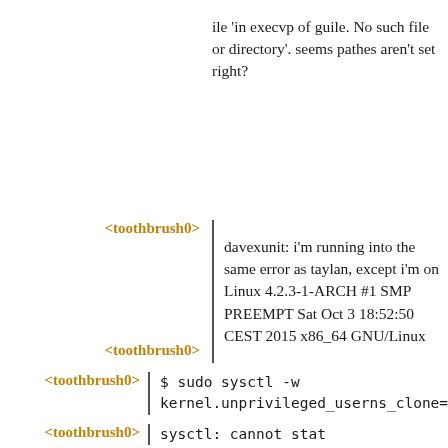ile 'in execvp of guile. No such file or directory'. seems pathes aren't set right?
<toothbrush0> davexunit: i'm running into the same error as taylan, except i'm on Linux 4.2.3-1-ARCH #1 SMP PREEMPT Sat Oct 3 18:52:50 CEST 2015 x86_64 GNU/Linux
<toothbrush0>
<toothbrush0> $ sudo sysctl -w kernel.unprivileged_userns_clone=1
<toothbrush0> sysctl: cannot stat